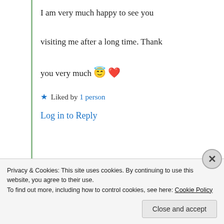I am very much happy to see you visiting me after a long time. Thank you very much 😇 ❤️
★ Liked by 1 person
Log in to Reply
Samridhi Fagnia
30th Jun 2021 at 5:49 am
Privacy & Cookies: This site uses cookies. By continuing to use this website, you agree to their use.
To find out more, including how to control cookies, see here: Cookie Policy
Close and accept